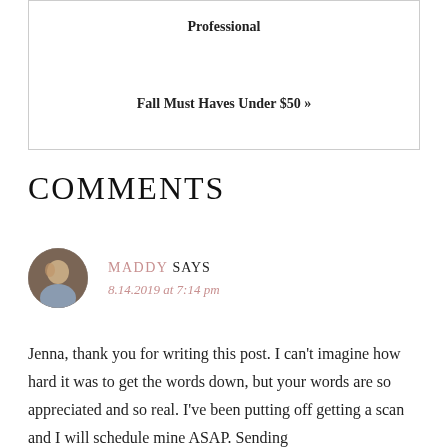Professional
Fall Must Haves Under $50 »
COMMENTS
MADDY SAYS
8.14.2019 at 7:14 pm
Jenna, thank you for writing this post. I can't imagine how hard it was to get the words down, but your words are so appreciated and so real. I've been putting off getting a scan and I will schedule mine ASAP. Sending